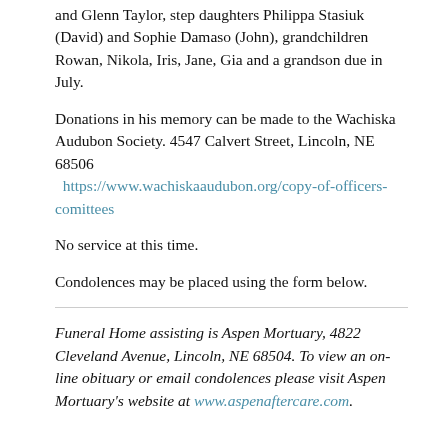and Glenn Taylor, step daughters Philippa Stasiuk (David) and Sophie Damaso (John), grandchildren Rowan, Nikola, Iris, Jane, Gia and a grandson due in July.
Donations in his memory can be made to the Wachiska Audubon Society.  4547 Calvert Street, Lincoln, NE 68506
  https://www.wachiskaaudubon.org/copy-of-officers-comittees
No service at this time.
Condolences may be placed using the form below.
Funeral Home assisting is Aspen Mortuary, 4822 Cleveland Avenue, Lincoln, NE 68504. To view an on-line obituary or email condolences please visit Aspen Mortuary's website at www.aspenaftercare.com.